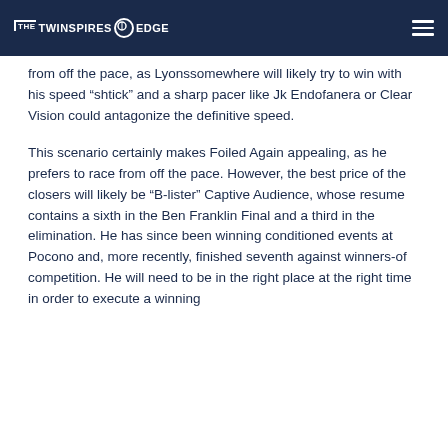THE TWINSPIRES EDGE
from off the pace, as Lyonssomewhere will likely try to win with his speed “shtick” and a sharp pacer like Jk Endofanera or Clear Vision could antagonize the definitive speed.
This scenario certainly makes Foiled Again appealing, as he prefers to race from off the pace. However, the best price of the closers will likely be “B-lister” Captive Audience, whose resume contains a sixth in the Ben Franklin Final and a third in the elimination. He has since been winning conditioned events at Pocono and, more recently, finished seventh against winners-of competition. He will need to be in the right place at the right time in order to execute a winning